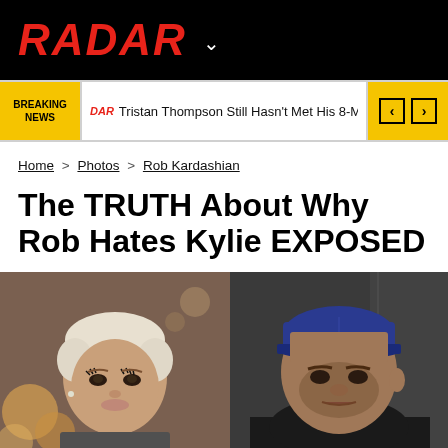RADAR
BREAKING NEWS   RADAR   Tristan Thompson Still Hasn't Met His 8-Month-Old Son
Home > Photos > Rob Kardashian
The TRUTH About Why Rob Hates Kylie EXPOSED
[Figure (photo): Side-by-side photo of Kylie Jenner (left, platinum blonde pixie cut) and Rob Kardashian (right, wearing blue LA Dodgers cap and black shirt)]